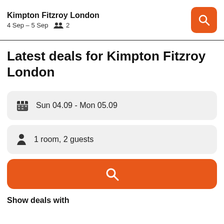Kimpton Fitzroy London
4 Sep – 5 Sep  2
Latest deals for Kimpton Fitzroy London
Sun 04.09  -  Mon 05.09
1 room, 2 guests
Show deals with